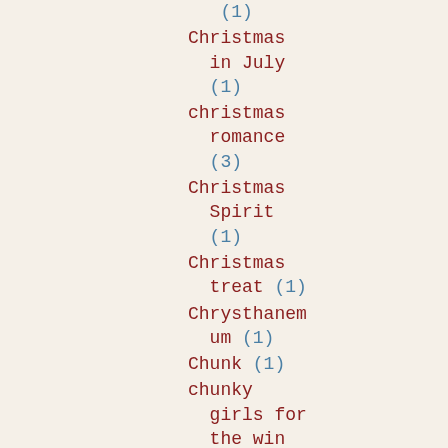(1)
Christmas in July (1)
christmas romance (3)
Christmas Spirit (1)
Christmas treat (1)
Chrysthanemum (1)
Chunk (1)
chunky girls for the win